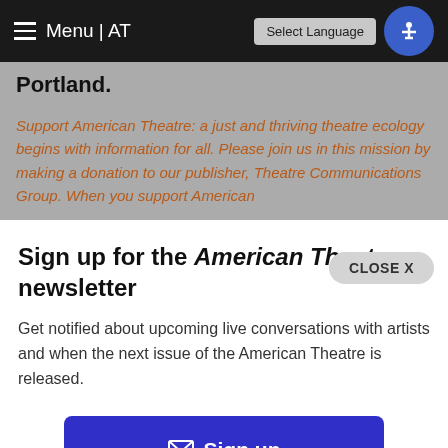Menu | AT   Select Language
Portland.
Support American Theatre: a just and thriving theatre ecology begins with information for all. Please join us in this mission by making a donation to our publisher, Theatre Communications Group. When you support American
CLOSE X
Sign up for the American Theatre newsletter
Get notified about upcoming live conversations with artists and when the next issue of the American Theatre is released.
Sign up